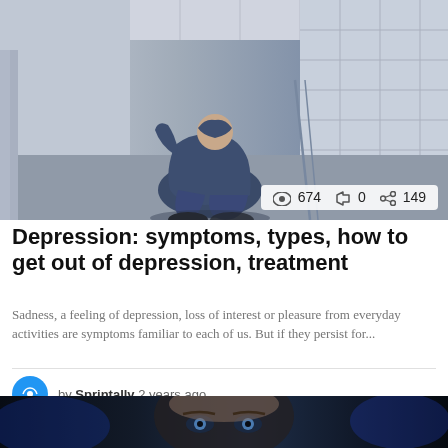[Figure (photo): Person sitting on floor in a hallway, head down, hands on head, appearing distressed. Desaturated blue-gray tones.]
Depression: symptoms, types, how to get out of depression, treatment
Sadness, a feeling of depression, loss of interest or pleasure from everyday activities are symptoms familiar to each of us. But if they persist for...
by Sprintally 2 years ago
[Figure (photo): Dark photo of a man's face with blue tones, appears to be in a vehicle.]